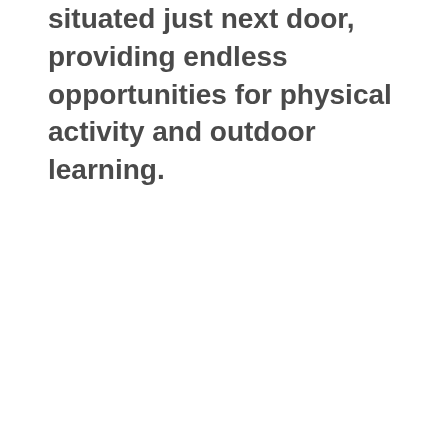situated just next door, providing endless opportunities for physical activity and outdoor learning.